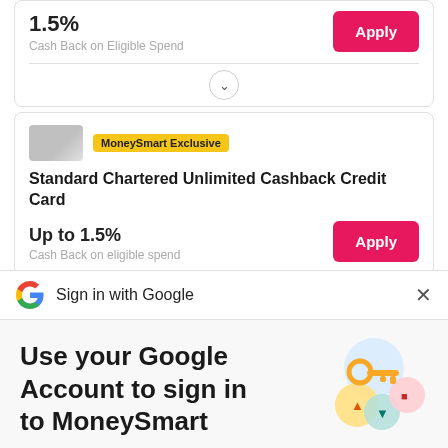1.5%
Cash Back on Eligible Spend
[Figure (screenshot): Card expand/collapse chevron button]
[Figure (illustration): Gray credit card image placeholder]
MoneySmart Exclusive
Standard Chartered Unlimited Cashback Credit Card
Up to 1.5%
Cash Back on eligible spend
[Figure (logo): Google G multicolor logo]
Sign in with Google
Use your Google Account to sign in to MoneySmart
No more passwords to remember. Signing in is fast, simple and secure.
[Figure (illustration): Colorful key and icons illustration for Google Sign-in]
Continue